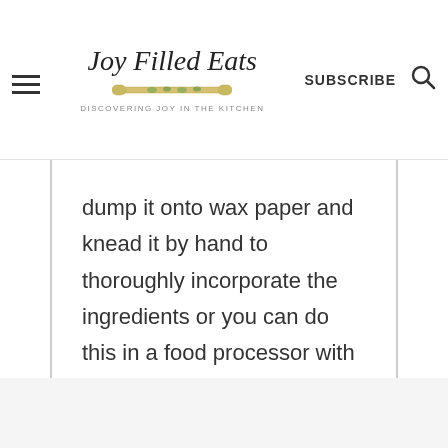Joy Filled Eats — DISCOVERING JOY IN THE KITCHEN — SUBSCRIBE
dump it onto wax paper and knead it by hand to thoroughly incorporate the ingredients or you can do this in a food processor with the dough blade.